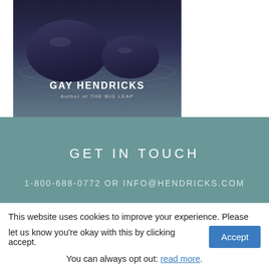[Figure (photo): Book cover image with stones on water background, featuring text 'GAY HENDRICKS Author of THE BIG LEAP']
GET IN TOUCH
1-800-688-0772 OR INFO@HENDRICKS.COM
[Figure (other): Social media icons: Facebook, Twitter, YouTube]
This website uses cookies to improve your experience. Please let us know you're okay with this by clicking accept. You can always opt out: read more.